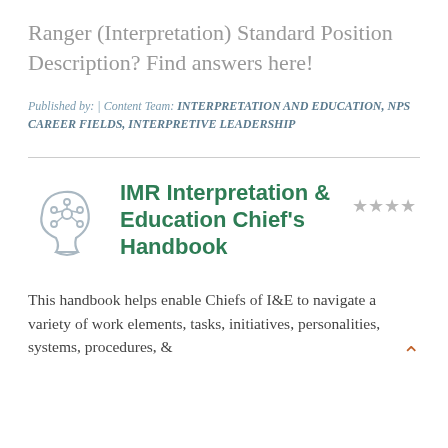Ranger (Interpretation) Standard Position Description? Find answers here!
Published by: | Content Team: INTERPRETATION AND EDUCATION, NPS CAREER FIELDS, INTERPRETIVE LEADERSHIP
IMR Interpretation & Education Chief's Handbook
This handbook helps enable Chiefs of I&E to navigate a variety of work elements, tasks, initiatives, personalities, systems, procedures, &